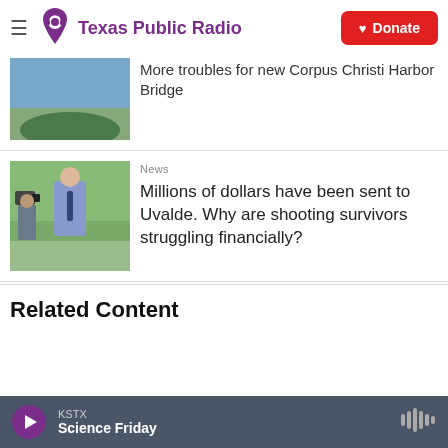Texas Public Radio — Donate
More troubles for new Corpus Christi Harbor Bridge
News
Millions of dollars have been sent to Uvalde. Why are shooting survivors struggling financially?
Related Content
KSTX — Science Friday